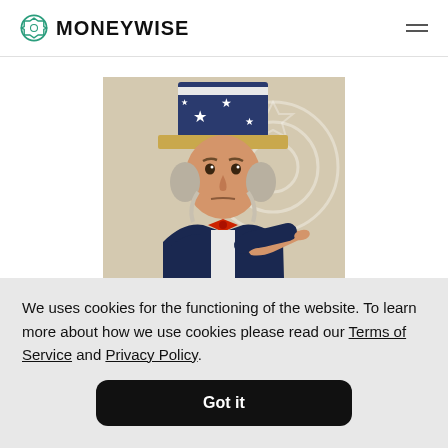MONEYWISE
[Figure (illustration): Uncle Sam pointing at the viewer, wearing a star-spangled top hat and blue coat with red bow tie, classic 'I Want You' recruitment poster style illustration with a Moneywise watermark logo in the background]
We uses cookies for the functioning of the website. To learn more about how we use cookies please read our Terms of Service and Privacy Policy.
Got it